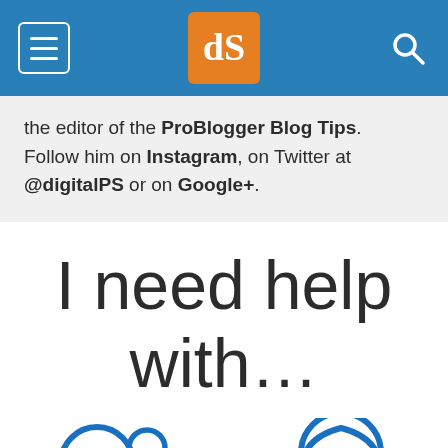dPS navigation header with hamburger menu, logo, and search icon
the editor of the ProBlogger Blog Tips. Follow him on Instagram, on Twitter at @digitalPS or on Google+.
I need help with…
[Figure (illustration): Two blue outline icons: a person with a tree/cloud (outdoor/landscape), and a person silhouette (portrait/people). Partial view cut off at bottom of page.]